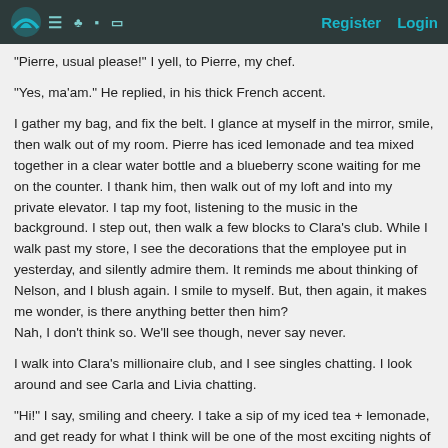Register  Login
"Pierre, usual please!" I yell, to Pierre, my chef.
"Yes, ma'am." He replied, in his thick French accent.
I gather my bag, and fix the belt. I glance at myself in the mirror, smile, then walk out of my room. Pierre has iced lemonade and tea mixed together in a clear water bottle and a blueberry scone waiting for me on the counter. I thank him, then walk out of my loft and into my private elevator. I tap my foot, listening to the music in the background. I step out, then walk a few blocks to Clara's club. While I walk past my store, I see the decorations that the employee put in yesterday, and silently admire them. It reminds me about thinking of Nelson, and I blush again. I smile to myself. But, then again, it makes me wonder, is there anything better then him?
Nah, I don't think so. We'll see though, never say never.
I walk into Clara's millionaire club, and I see singles chatting. I look around and see Carla and Livia chatting.
"Hi!" I say, smiling and cheery. I take a sip of my iced tea + lemonade, and get ready for what I think will be one of the most exciting nights of my life.